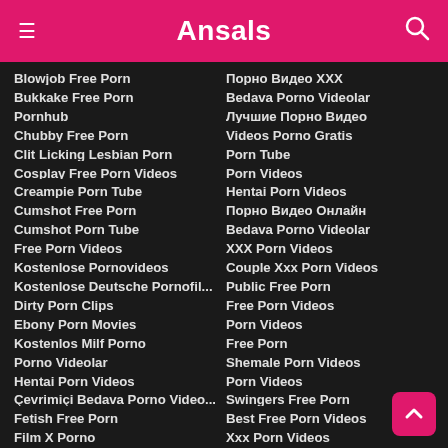Ansals
Blowjob Free Porn
Bukkake Free Porn
Pornhub
Chubby Free Porn
Clit Licking Lesbian Porn
Cosplay Free Porn Videos
Creampie Porn Tube
Cumshot Free Porn
Cumshot Porn Tube
Free Porn Videos
Kostenlose Pornovideos
Kostenlose Deutsche Pornofil...
Dirty Porn Clips
Ebony Porn Movies
Kostenlos Milf Porno
Porno Videolar
Hentai Porn Videos
Çevrimiçi Bedava Porno Video...
Fetish Free Porn
Film X Porno
Порно Видео ХХХ
Bedava Porno Videolar
Лучшие Порно Видео
Videos Porno Gratis
Porn Tube
Porn Videos
Hentai Porn Videos
Порно Видео Онлайн
Bedava Porno Videolar
XXX Porn Videos
Couple Xxx Porn Videos
Public Free Porn
Free Porn Videos
Porn Videos
Free Porn
Shemale Porn Videos
Porn Videos
Swingers Free Porn
Best Free Porn Videos
Xxx Porn Videos